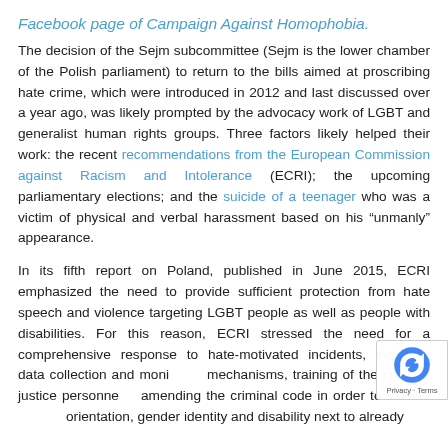Facebook page of Campaign Against Homophobia.
The decision of the Sejm subcommittee (Sejm is the lower chamber of the Polish parliament) to return to the bills aimed at proscribing hate crime, which were introduced in 2012 and last discussed over a year ago, was likely prompted by the advocacy work of LGBT and generalist human rights groups. Three factors likely helped their work: the recent recommendations from the European Commission against Racism and Intolerance (ECRI); the upcoming parliamentary elections; and the suicide of a teenager who was a victim of physical and verbal harassment based on his “unmanly” appearance.
In its fifth report on Poland, published in June 2015, ECRI emphasized the need to provide sufficient protection from hate speech and violence targeting LGBT people as well as people with disabilities. For this reason, ECRI stressed the need for a comprehensive response to hate-motivated incidents, including data collection and monitoring mechanisms, training of the criminal justice personnel, amending the criminal code in order to include orientation, gender identity and disability next to already